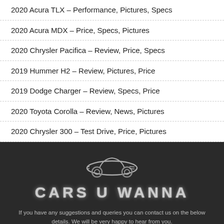2020 Acura TLX – Performance, Pictures, Specs
2020 Acura MDX – Price, Specs, Pictures
2020 Chrysler Pacifica – Review, Price, Specs
2019 Hummer H2 – Review, Pictures, Price
2019 Dodge Charger – Review, Specs, Price
2020 Toyota Corolla – Review, News, Pictures
2020 Chrysler 300 – Test Drive, Price, Pictures
[Figure (logo): Cars U Wanna logo: stylized car icon above text CARS U WANNA on dark background]
If you have any suggestions and queries you can contact us on the below details. We will be very happy to hear from you.